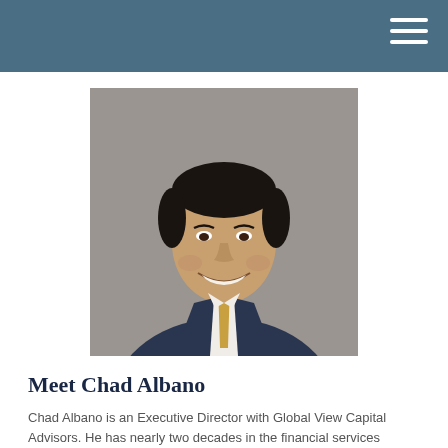[Figure (photo): Professional headshot of Chad Albano, a man smiling in a dark navy suit with a gold/yellow tie, against a neutral grey background.]
Meet Chad Albano
Chad Albano is an Executive Director with Global View Capital Advisors. He has nearly two decades in the financial services industry. Chad holds a Bachelor of